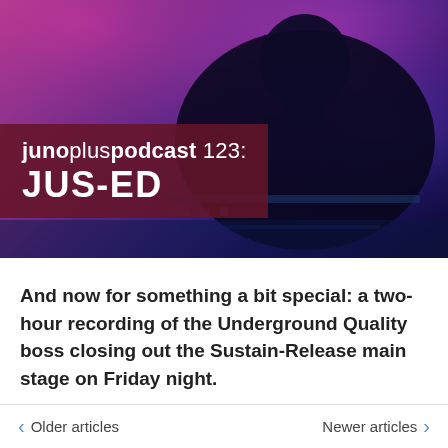[Figure (photo): Hero image of a DJ performing at a concert with purple/pink stage lighting. The DJ is visible as a silhouette against vivid purple and magenta lights. A dark red/maroon overlay box contains the podcast title text.]
junopluspodcast 123: JUS-ED
And now for something a bit special: a two-hour recording of the Underground Quality boss closing out the Sustain-Release main stage on Friday night.
< Older articles    Newer articles >